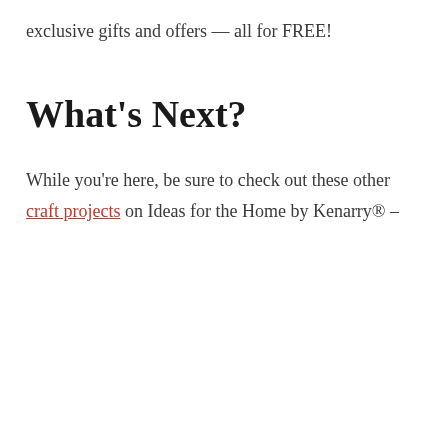exclusive gifts and offers — all for FREE!
What's Next?
While you're here, be sure to check out these other craft projects on Ideas for the Home by Kenarry® –